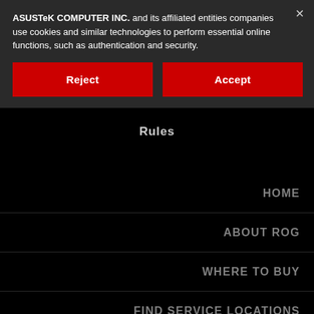ASUSTeK COMPUTER INC. and its affiliated entities companies use cookies and similar technologies to perform essential online functions, such as authentication and security.
Reject
Accept
Rules
HOME
ABOUT ROG
WHERE TO BUY
FIND SERVICE LOCATIONS